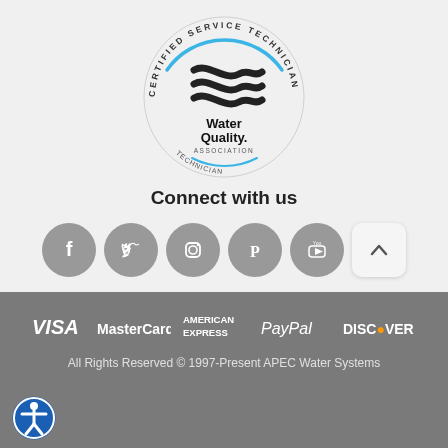[Figure (logo): Water Quality Association Certified Service Technician circular logo with WQA emblem in center]
Connect with us
[Figure (infographic): Row of five grey social media icons (Facebook, Twitter, Instagram, Pinterest, YouTube) and a back-to-top button]
[Figure (infographic): Payment logos row: VISA, MasterCard, American Express, PayPal, Discover on grey background]
All Rights Reserved © 1997-Present APEC Water Systems